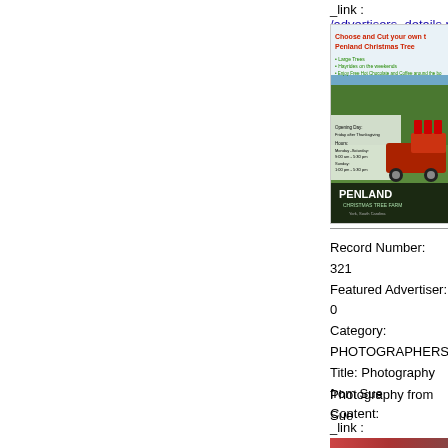link : /advertisers_details.php
[Figure (photo): Penland Christmas Tree Farm advertisement showing a red truck, people, and Christmas tree farm scenery with text about choosing and cutting your own tree]
Record Number: 321
Featured Advertiser: 0
Category: PHOTOGRAPHERS
Title: Photography from Sue
Content:
Photography from Sue

704-996-8233

suey919@gmail.com
link : /advertisers_details.php
[Figure (photo): Partial photo strip at bottom showing people]